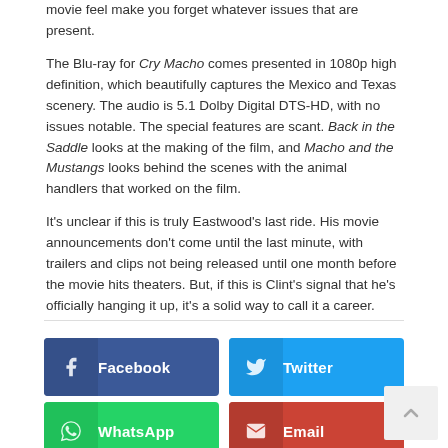movie feel make you forget whatever issues that are present.
The Blu-ray for Cry Macho comes presented in 1080p high definition, which beautifully captures the Mexico and Texas scenery. The audio is 5.1 Dolby Digital DTS-HD, with no issues notable. The special features are scant. Back in the Saddle looks at the making of the film, and Macho and the Mustangs looks behind the scenes with the animal handlers that worked on the film.
It's unclear if this is truly Eastwood's last ride. His movie announcements don't come until the last minute, with trailers and clips not being released until one month before the movie hits theaters. But, if this is Clint's signal that he's officially hanging it up, it's a solid way to call it a career.
[Figure (infographic): Social share buttons: Facebook (dark blue), Twitter (light blue), WhatsApp (green), Email (red). Also a back-to-top button in light grey.]